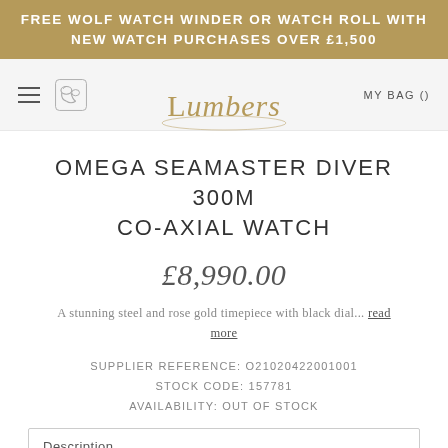FREE WOLF WATCH WINDER OR WATCH ROLL WITH NEW WATCH PURCHASES OVER £1,500
[Figure (logo): Lumbers jewellers logo with phone icon and navigation icons]
OMEGA SEAMASTER DIVER 300M CO-AXIAL WATCH
£8,990.00
A stunning steel and rose gold timepiece with black dial... read more
SUPPLIER REFERENCE: O21020422001001
STOCK CODE: 157781
AVAILABILITY: OUT OF STOCK
Description